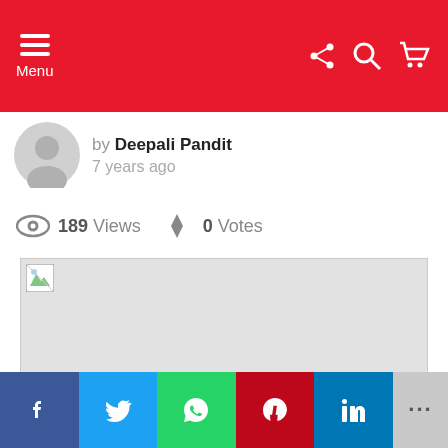Menu
by Deepali Pandit
7 years ago
189 Views  0 Votes
[Figure (photo): Broken/missing image placeholder with gray background]
Facebook | Twitter | WhatsApp | Pinterest | LinkedIn | More